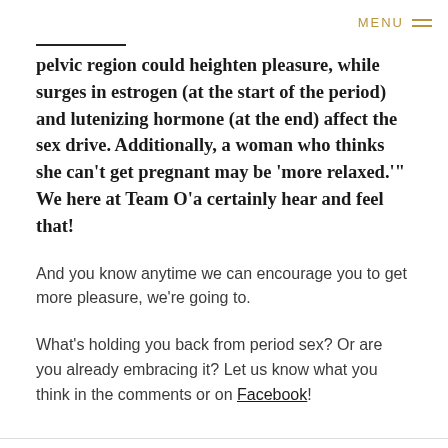MENU
pelvic region could heighten pleasure, while surges in estrogen (at the start of the period) and lutenizing hormone (at the end) affect the sex drive. Additionally, a woman who thinks she can't get pregnant may be 'more relaxed.'" We here at Team O'a certainly hear and feel that!
And you know anytime we can encourage you to get more pleasure, we're going to.
What's holding you back from period sex? Or are you already embracing it? Let us know what you think in the comments or on Facebook!